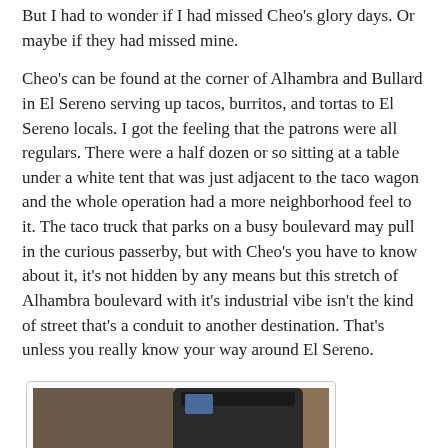But I had to wonder if I had missed Cheo's glory days. Or maybe if they had missed mine.
Cheo's can be found at the corner of Alhambra and Bullard in El Sereno serving up tacos, burritos, and tortas to El Sereno locals. I got the feeling that the patrons were all regulars. There were a half dozen or so sitting at a table under a white tent that was just adjacent to the taco wagon and the whole operation had a more neighborhood feel to it. The taco truck that parks on a busy boulevard may pull in the curious passerby, but with Cheo's you have to know about it, it's not hidden by any means but this stretch of Alhambra boulevard with it's industrial vibe isn't the kind of street that's a conduit to another destination. That's unless you really know your way around El Sereno.
[Figure (photo): A photo showing food items and drinks on a table at Cheo's, including cups with beverages and condiment containers, with a dark cooler or container visible in the background.]